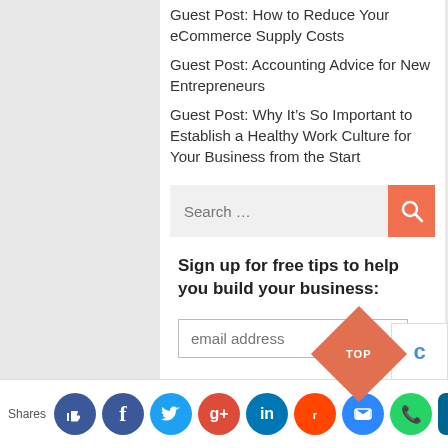Guest Post: How to Reduce Your eCommerce Supply Costs
Guest Post: Accounting Advice for New Entrepreneurs
Guest Post: Why It’s So Important to Establish a Healthy Work Culture for Your Business from the Start
[Figure (screenshot): Search input box with orange search button]
Sign up for free tips to help you build your business:
[Figure (screenshot): Email address input field]
[Figure (screenshot): Social sharing bar with icons for like, facebook, twitter, google+, linkedin, reddit, messenger, whatsapp, digg, email, bookmark. Shares label on left.]